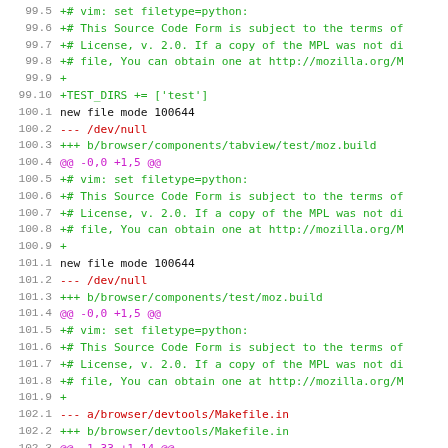Code diff view showing lines 99.5 through 102.8 of a source file with git diff output including new file modes, file paths, chunk headers, and source code comments.